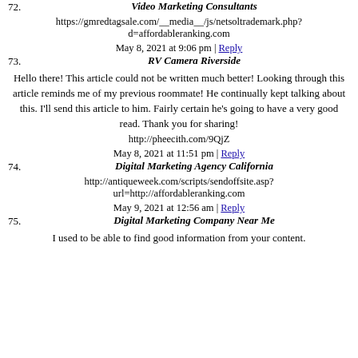72. Video Marketing Consultants
https://gmredtagsale.com/__media__/js/netsoltrademark.php?d=affordableranking.com
May 8, 2021 at 9:06 pm | Reply
73. RV Camera Riverside
Hello there! This article could not be written much better! Looking through this article reminds me of my previous roommate! He continually kept talking about this. I'll send this article to him. Fairly certain he's going to have a very good read. Thank you for sharing!
http://pheecith.com/9QjZ
May 8, 2021 at 11:51 pm | Reply
74. Digital Marketing Agency California
http://antiqueweek.com/scripts/sendoffsite.asp?url=http://affordableranking.com
May 9, 2021 at 12:56 am | Reply
75. Digital Marketing Company Near Me
I used to be able to find good information from your content.